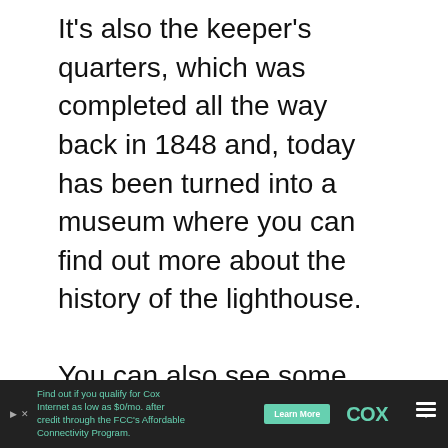It's also the keeper's quarters, which was completed all the way back in 1848 and, today has been turned into a museum where you can find out more about the history of the lighthouse.
You can also see some cool artifacts and photos that you won't find elsewhere in Florida!
There's also a gift shop in the museum that sells beautiful and intricate pieces of art made locally.
[Figure (other): Teal heart icon button (favorite/like), 4K label, and share icon button on the right side of the page]
[Figure (other): Cox Internet advertisement banner at the bottom: 'Find out if you qualify for Cox Internet as low as $0/mo. after credit through the FCC's Affordable Connectivity Program.' with Learn More button and COX logo]